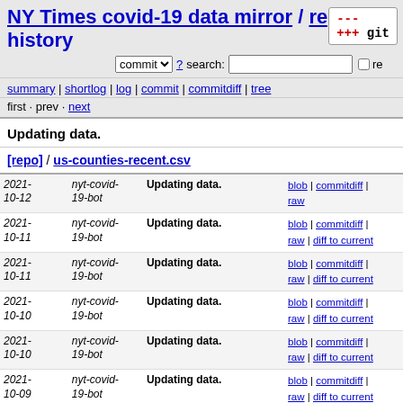NY Times covid-19 data mirror / repo / history
commit  ? search:  re
summary | shortlog | log | commit | commitdiff | tree
first · prev · next
Updating data.
[repo] / us-counties-recent.csv
| date | author | message | links |
| --- | --- | --- | --- |
| 2021-10-12 | nyt-covid-19-bot | Updating data. | blob | commitdiff | raw |
| 2021-10-11 | nyt-covid-19-bot | Updating data. | blob | commitdiff | raw | diff to current |
| 2021-10-11 | nyt-covid-19-bot | Updating data. | blob | commitdiff | raw | diff to current |
| 2021-10-10 | nyt-covid-19-bot | Updating data. | blob | commitdiff | raw | diff to current |
| 2021-10-10 | nyt-covid-19-bot | Updating data. | blob | commitdiff | raw | diff to current |
| 2021-10-09 | nyt-covid-19-bot | Updating data. | blob | commitdiff | raw | diff to current |
| 2021-10-08 | nyt-covid-19-bot | Updating data. | blob | commitdiff | raw | diff to current |
| 2021-10-08 | nyt-covid-19-bot | Updating data. | blob | commitdiff | raw | diff to current |